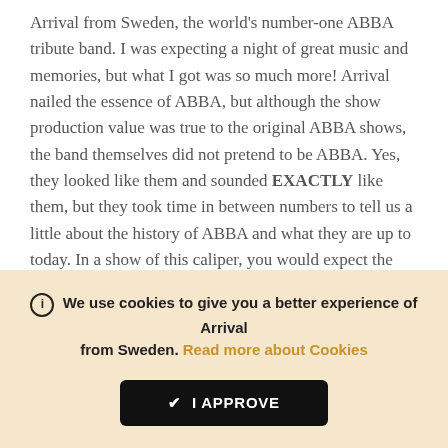Arrival from Sweden, the world's number-one ABBA tribute band. I was expecting a night of great music and memories, but what I got was so much more! Arrival nailed the essence of ABBA, but although the show production value was true to the original ABBA shows, the band themselves did not pretend to be ABBA. Yes, they looked like them and sounded EXACTLY like them, but they took time in between numbers to tell us a little about the history of ABBA and what they are up to today. In a show of this caliper, you would expect the musicianship of the band members to be quite outstanding, but never in my wildest imagination could I have expected what I saw then. The keyboardist, Lars, is
We use cookies to give you a better experience of Arrival from Sweden. Read more about Cookies
I APPROVE